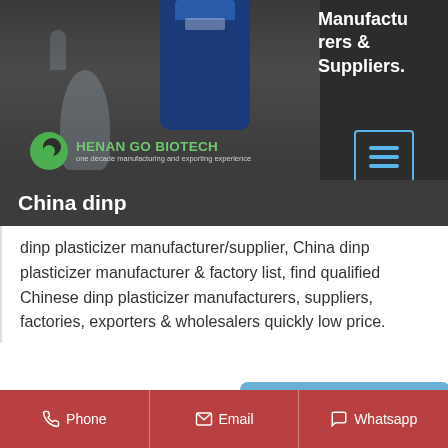[Figure (photo): Dark banner header with product photo (glass containers/lab equipment), Henan Go Biotech logo with green circle icon, tagline 'one decade manufacturing and exporting experience', hamburger/menu icon in blue border box, and text 'Manufacturers & Suppliers.' on the right side]
China dinp
dinp plasticizer manufacturer/supplier, China dinp plasticizer manufacturer & factory list, find qualified Chinese dinp plasticizer manufacturers, suppliers, factories, exporters & wholesalers quickly low price.
Send Inquiry
Get Price
Phone   Email   Whatsapp
. Medical